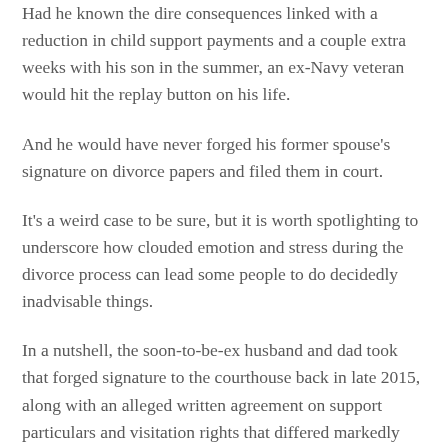Had he known the dire consequences linked with a reduction in child support payments and a couple extra weeks with his son in the summer, an ex-Navy veteran would hit the replay button on his life.
And he would have never forged his former spouse's signature on divorce papers and filed them in court.
It's a weird case to be sure, but it is worth spotlighting to underscore how clouded emotion and stress during the divorce process can lead some people to do decidedly inadvisable things.
In a nutshell, the soon-to-be-ex husband and dad took that forged signature to the courthouse back in late 2015, along with an alleged written agreement on support particulars and visitation rights that differed markedly from what he and his wife had orally agreed to.